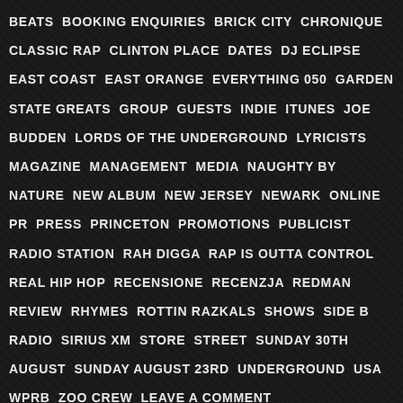BEATS BOOKING ENQUIRIES BRICK CITY CHRONIQUE CLASSIC RAP CLINTON PLACE DATES DJ ECLIPSE EAST COAST EAST ORANGE EVERYTHING 050 GARDEN STATE GREATS GROUP GUESTS INDIE ITUNES JOE BUDDEN LORDS OF THE UNDERGROUND LYRICISTS MAGAZINE MANAGEMENT MEDIA NAUGHTY BY NATURE NEW ALBUM NEW JERSEY NEWARK ONLINE PR PRESS PRINCETON PROMOTIONS PUBLICIST RADIO STATION RAH DIGGA RAP IS OUTTA CONTROL REAL HIP HOP RECENSIONE RECENZJA REDMAN REVIEW RHYMES ROTTIN RAZKALS SHOWS SIDE B RADIO SIRIUS XM STORE STREET SUNDAY 30TH AUGUST SUNDAY AUGUST 23RD UNDERGROUND USA WPRB ZOO CREW LEAVE A COMMENT